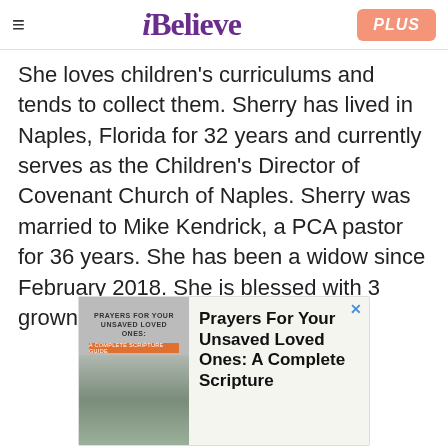≡  iBelieve  PLUS
She loves children's curriculums and tends to collect them. Sherry has lived in Naples, Florida for 32 years and currently serves as the Children's Director of Covenant Church of Naples. Sherry was married to Mike Kendrick, a PCA pastor for 36 years. She has been a widow since February 2018. She is blessed with 3 grown children and one grandchild.
[Figure (other): Advertisement for 'Prayers For Your Unsaved Loved Ones: A Complete Scripture' book, showing a book cover image on the left with a woman and mountains, and bold text on the right.]